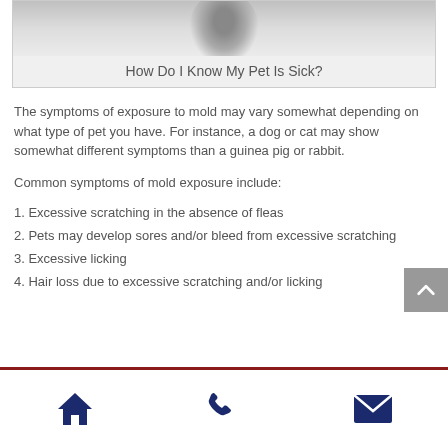[Figure (photo): Photo of a pet (cat or dog) from above, partially visible, on a light gray background]
How Do I Know My Pet Is Sick?
The symptoms of exposure to mold may vary somewhat depending on what type of pet you have. For instance, a dog or cat may show somewhat different symptoms than a guinea pig or rabbit.
Common symptoms of mold exposure include:
1. Excessive scratching in the absence of fleas
2. Pets may develop sores and/or bleed from excessive scratching
3. Excessive licking
4. Hair loss due to excessive scratching and/or licking
Navigation footer with home, phone, and email icons